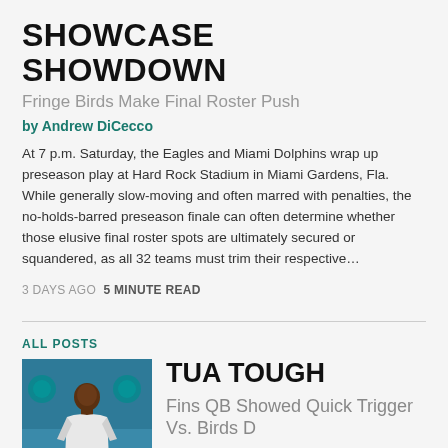SHOWCASE SHOWDOWN
Fringe Birds Make Final Roster Push
by Andrew DiCecco
At 7 p.m. Saturday, the Eagles and Miami Dolphins wrap up preseason play at Hard Rock Stadium in Miami Gardens, Fla. While generally slow-moving and often marred with penalties, the no-holds-barred preseason finale can often determine whether those elusive final roster spots are ultimately secured or squandered, as all 32 teams must trim their respective…
3 DAYS AGO  5 MINUTE READ
ALL POSTS
[Figure (photo): Photo of a man (Dolphins QB) in a white sleeveless shirt at a press conference with Miami Dolphins logos in the background]
TUA TOUGH
Fins QB Showed Quick Trigger Vs. Birds D